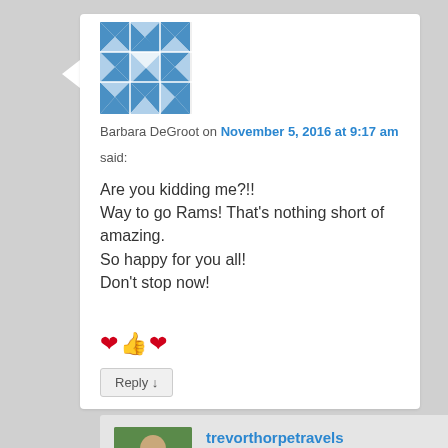[Figure (illustration): Blue and white geometric tile pattern avatar for Barbara DeGroot]
Barbara DeGroot on November 5, 2016 at 9:17 am
said:
Are you kidding me?!!
Way to go Rams! That's nothing short of amazing.
So happy for you all!
Don't stop now!
❤👍❤
Reply ↓
[Figure (photo): Photo avatar of trevorthorpetravels user, person in green shirt outdoors]
trevorthorpetravels on November 5, 2016 at 1:13 pm said: